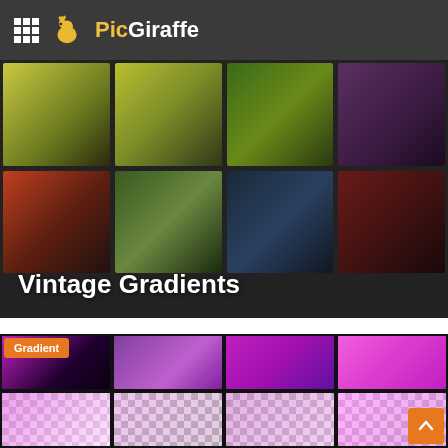PicGiraffe
[Figure (screenshot): Vintage Gradients banner showing a 4x2 grid of vintage-style gradient swatches in earthy/muted tones (yellow-green, dark green, purple, red-brown, olive) with the text 'Vintage Gradients' overlaid at the bottom left.]
[Figure (screenshot): Gradient thumbnail grid showing 2 rows of 4 magenta/pink gradient swatches. Top row shows solid vivid magenta gradients with an orange 'Gradient' badge on the first cell. Bottom row shows the same gradients with transparency (checkerboard pattern visible). An orange scroll-to-top button is in the bottom right corner.]